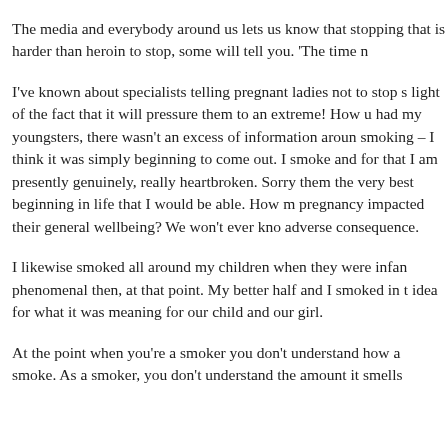The media and everybody around us lets us know that stopping that is harder than heroin to stop, some will tell you. 'The time n
I've known about specialists telling pregnant ladies not to stop s light of the fact that it will pressure them to an extreme! How u had my youngsters, there wasn't an excess of information aroun smoking – I think it was simply beginning to come out. I smoke and for that I am presently genuinely, really heartbroken. Sorry them the very best beginning in life that I would be able. How m pregnancy impacted their general wellbeing? We won't ever kno adverse consequence.
I likewise smoked all around my children when they were infan phenomenal then, at that point. My better half and I smoked in t idea for what it was meaning for our child and our girl.
At the point when you're a smoker you don't understand how a smoke. As a smoker, you don't understand the amount it smells